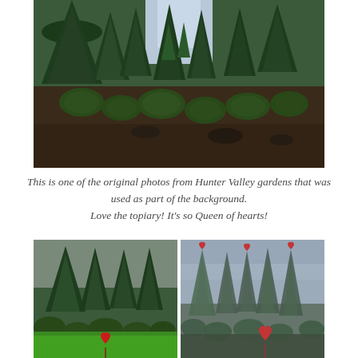[Figure (photo): Photograph of a formal topiary garden at Hunter Valley with tall conical and rounded shaped dark green hedges and shrubs arranged in rows, viewed from a path between them.]
This is one of the original photos from Hunter Valley gardens that was used as part of the background. Love the topiary! It's so Queen of hearts!
[Figure (photo): Two side-by-side photos showing the Hunter Valley topiary garden: left photo shows lush green topiary with vivid green grass and a red heart balloon on a stick; right photo shows the same topiary in a misty/foggy moody atmosphere with red heart decorations on the treetops and a large red heart balloon.]